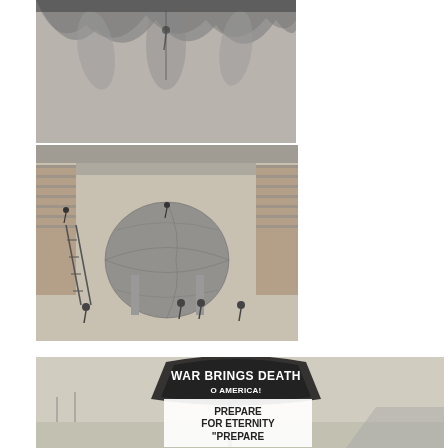[Figure (photo): Black and white photograph showing what appears to be an interior with draped fabric or canvas hanging from above, possibly a theater or large building under construction or decoration.]
[Figure (photo): Black and white photograph or illustration showing workers in a large interior space with a giant globe or sphere structure. Several people are visible climbing ladders and standing around the massive spherical object inside what appears to be a library or public building with bookshelves along the walls.]
[Figure (photo): Black and white photograph of a roadside sign reading 'WAR BRINGS DEATH O AMERICA! PREPARE FOR ETERNITY "PREPARE'. The sign is photographed against an open rural landscape.]